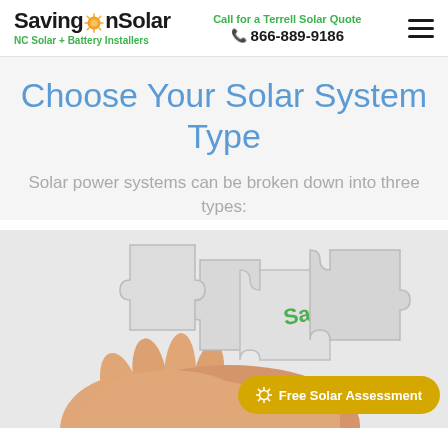SavingOnSolar — NC Solar + Battery Installers | Call for a Terrell Solar Quote | 866-889-9186
Choose Your Solar System Type
Solar power systems can be broken down into three types:
[Figure (photo): A hand holding a puzzle piece labeled 'Save' among other puzzle pieces, with a yellow 'Free Solar Assessment' button overlay in the bottom right corner.]